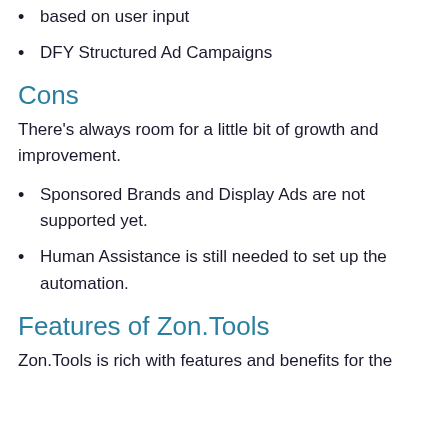based on user input
DFY Structured Ad Campaigns
Cons
There’s always room for a little bit of growth and improvement.
Sponsored Brands and Display Ads are not supported yet.
Human Assistance is still needed to set up the automation.
Features of Zon.Tools
Zon.Tools is rich with features and benefits for the